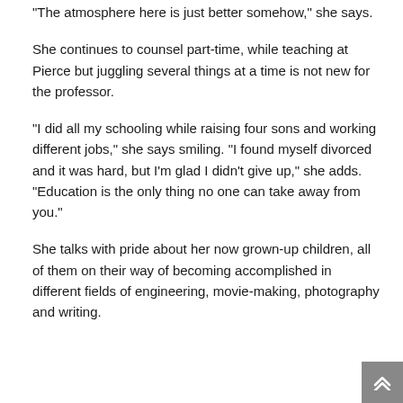“The atmosphere here is just better somehow,” she says.
She continues to counsel part-time, while teaching at Pierce but juggling several things at a time is not new for the professor.
“I did all my schooling while raising four sons and working different jobs,” she says smiling. “I found myself divorced and it was hard, but I’m glad I didn’t give up,” she adds. “Education is the only thing no one can take away from you.”
She talks with pride about her now grown-up children, all of them on their way of becoming accomplished in different fields of engineering, movie-making, photography and writing.